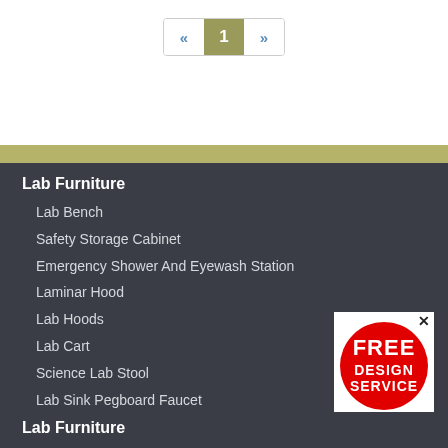« 1 »
Lab Furniture
Lab Bench
Safety Storage Cabinet
Emergency Shower And Eyewash Station
Laminar Hood
Lab Hoods
Lab Cart
Science Lab Stool
Lab Sink Pegboard Faucet
[Figure (logo): Red circle badge with white bold text reading FREE DESIGN SERVICE with a small X close button in top right corner]
Lab Furniture